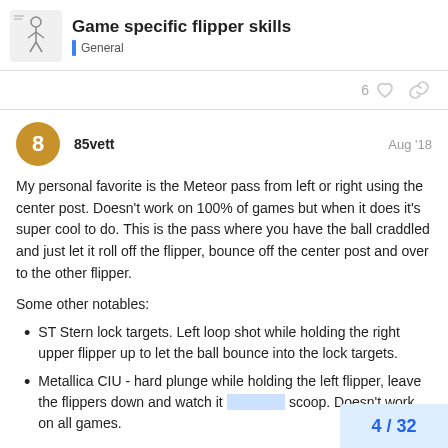Game specific flipper skills — General
6 likes and share icons
85vett — Aug '18
My personal favorite is the Meteor pass from left or right using the center post. Doesn't work on 100% of games but when it does it's super cool to do. This is the pass where you have the ball craddled and just let it roll off the flipper, bounce off the center post and over to the other flipper.
Some other notables:
ST Stern lock targets. Left loop shot while holding the right upper flipper up to let the ball bounce into the lock targets.
Metallica CIU - hard plunge while holding the left flipper, leave the flippers down and watch it [go into the] scoop. Doesn't work on all games.
4 / 32